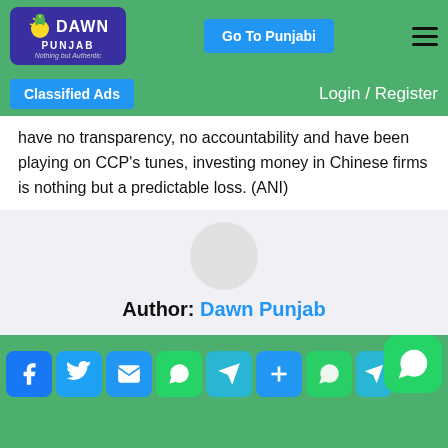[Figure (logo): Dawn Punjab logo - blue rounded rectangle with sun icon, text DAWN PUNJAB, tagline Nothing but Authentic]
Go To Punjabi | Login / Register
have no transparency, no accountability and have been playing on CCP's tunes, investing money in Chinese firms is nothing but a predictable loss. (ANI)
[Figure (other): Author box with circular avatar placeholder and text: Author: Dawn Punjab]
[Figure (other): Social share icons row: Facebook, Twitter, Email, WhatsApp, Telegram, Add, WhatsApp, Telegram, More, and floating WhatsApp button]